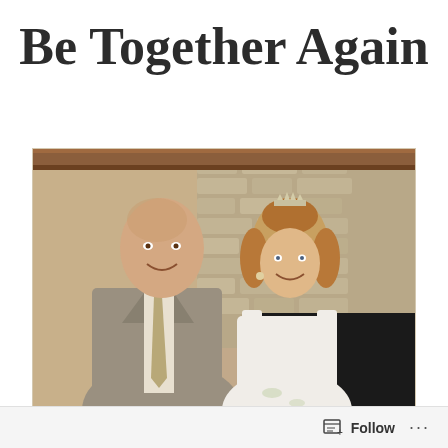Be Together Again
[Figure (photo): A man in a gray suit with a patterned tie and a young girl wearing a white dress and a tiara, standing together in front of a stone fireplace.]
Follow ...